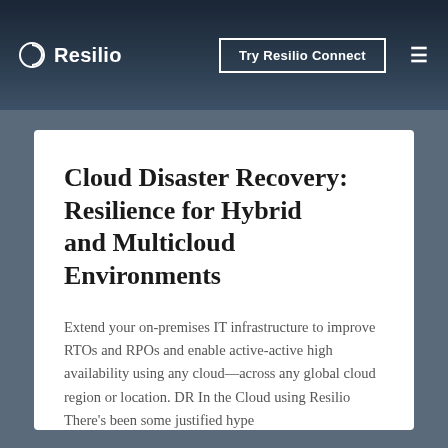Resilio | Try Resilio Connect
Cloud Disaster Recovery: Resilience for Hybrid and Multicloud Environments
Extend your on-premises IT infrastructure to improve RTOs and RPOs and enable active-active high availability using any cloud—across any global cloud region or location. DR In the Cloud using Resilio There's been some justified hype
READ MORE...